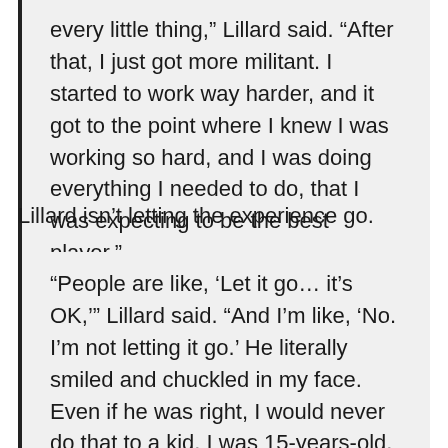every little thing,” Lillard said. “After that, I just got more militant. I started to work way harder, and it got to the point where I knew I was working so hard, and I was doing everything I needed to do, that I was expecting to be the best player.”
Lillard isn’t letting the experience go.
“People are like, ‘Let it go… it’s OK,’” Lillard said. “And I’m like, ‘No. I’m not letting it go.’ He literally smiled and chuckled in my face. Even if he was right, I would never do that to a kid. I was 15-years-old. If somebody did that to my son, I might whoop their ass.”
Instead, he uses it to fuel moments like the one we saw against the Chicago Bulls, and he recognizes